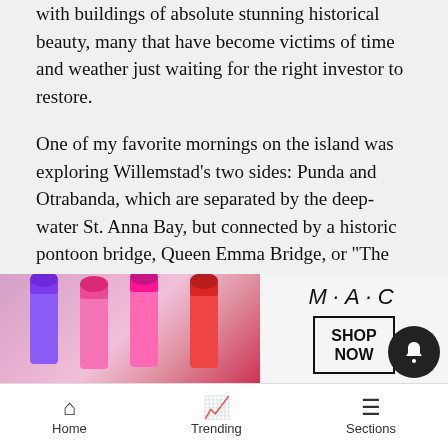with buildings of absolute stunning historical beauty, many that have become victims of time and weather just waiting for the right investor to restore.
One of my favorite mornings on the island was exploring Willemstad's two sides: Punda and Otrabanda, which are separated by the deep-water St. Anna Bay, but connected by a historic pontoon bridge, Queen Emma Bridge, or "The Swinging Old Lady" as locals call it. In Otrabanda, I visited the fish market, and Mikve Israel-Emanuel Synagogue, the oldest continuously operated synagogue in the Western Hemisphere. The well-established Sephardic Jewish population of Curaçao had great influence on the community, one of the first populations to call Curaçao home in the 17th century. This synagogue features... and the unique... i
[Figure (screenshot): MAC Cosmetics advertisement overlay showing lipstick products in purple, pink, and red with MAC logo and SHOP NOW button]
Home  Trending  Sections